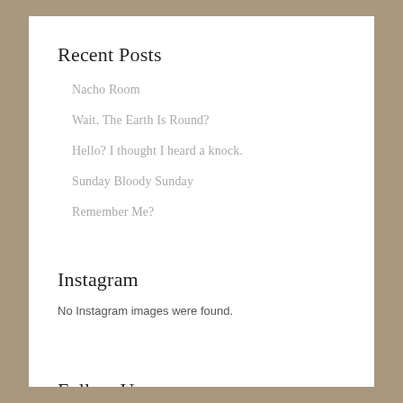Recent Posts
Nacho Room
Wait. The Earth Is Round?
Hello? I thought I heard a knock.
Sunday Bloody Sunday
Remember Me?
Instagram
No Instagram images were found.
Follow Us